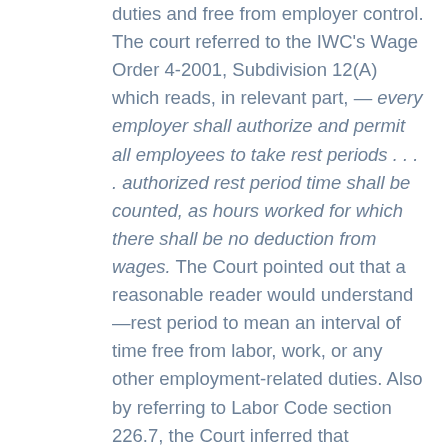duties and free from employer control. The court referred to the IWC's Wage Order 4-2001, Subdivision 12(A) which reads, in relevant part, — every employer shall authorize and permit all employees to take rest periods . . . . authorized rest period time shall be counted, as hours worked for which there shall be no deduction from wages. The Court pointed out that a reasonable reader would understand —rest period to mean an interval of time free from labor, work, or any other employment-related duties. Also by referring to Labor Code section 226.7, the Court inferred that employers' responsibilities are the same for meal and rest periods -- an inference that also reflects the protective purpose of both. The Court emphases that if the IWC wanted to allow on-duty breaks, they would have included an express language, just the way